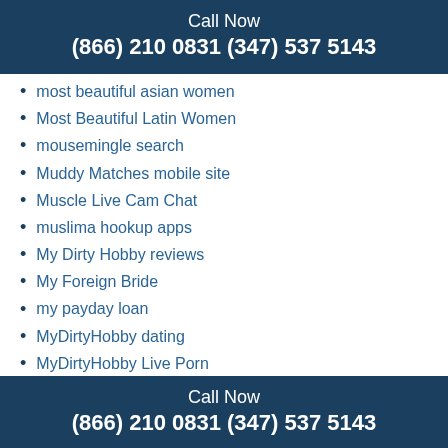Call Now
(866) 210 0831 (347) 537 5143
most beautiful asian women
Most Beautiful Latin Women
mousemingle search
Muddy Matches mobile site
Muscle Live Cam Chat
muslima hookup apps
My Dirty Hobby reviews
My Foreign Bride
my payday loan
MyDirtyHobby dating
MyDirtyHobby Live Porn
Mydirtyhobby Video
Myfreecams Au
MyFreeCams Sexy Cam Models
MyLol free trial
Mylol Net
mylol.org mobile
Call Now
(866) 210 0831 (347) 537 5143